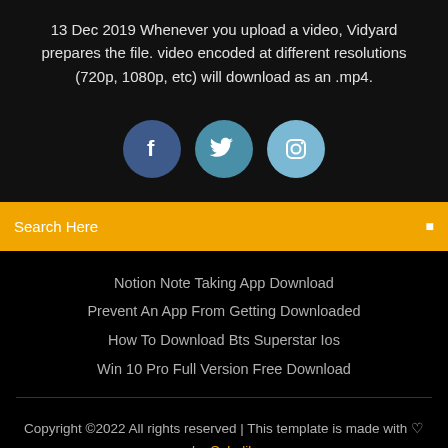13 Dec 2019 Whenever you upload a video, Vidyard prepares the file. video encoded at different resolutions (720p, 1080p, etc) will download as an .mp4.
[Figure (illustration): Three social media icon circles: Facebook (dark blue), Twitter (medium blue), Instagram (light blue)]
Search Here
Notion Note Taking App Download
Prevent An App From Getting Downloaded
How To Download Bts Superstar Ios
Win 10 Pro Full Version Free Download
Copyright ©2022 All rights reserved | This template is made with ♡ by Colorlib